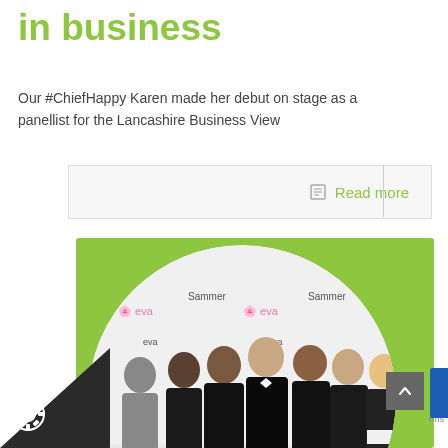in business
Our #ChiefHappy Karen made her debut on stage as a panellist for the Lancashire Business View
Read more
[Figure (photo): Group of six people dressed in formal black attire posing together at an event, standing in front of a branded step-and-repeat backdrop with 'eva' logos, displayed in a circular crop on a green background.]